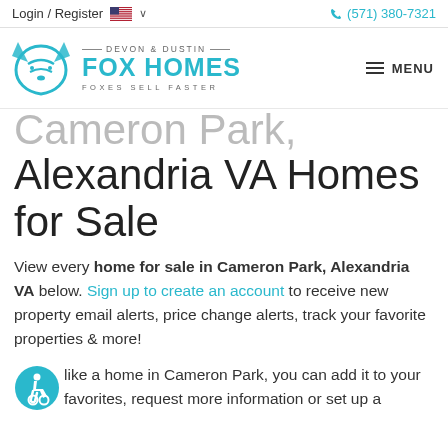Login / Register  🇺🇸 ∨   📞 (571) 380-7321
[Figure (logo): Devon & Dustin Fox Homes logo with teal fox icon and text 'DEVON & DUSTIN FOX HOMES FOXES SELL FASTER', plus MENU button]
Cameron Park, Alexandria VA Homes for Sale
View every home for sale in Cameron Park, Alexandria VA below. Sign up to create an account to receive new property email alerts, price change alerts, track your favorite properties & more!
like a home in Cameron Park, you can add it to your favorites, request more information or set up a